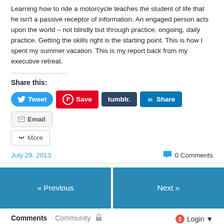Learning how to ride a motorcycle teaches the student of life that he isn't a passive receptor of information. An engaged person acts upon the world – not blindly but through practice, ongoing, daily practice. Getting the skills right is the starting point. This is how I spent my summer vacation. This is my report back from my executive retreat.
Share this:
[Figure (screenshot): Social share buttons: Tweet (Twitter, blue), Save (Pinterest, red), tumblr. (dark blue), Share (LinkedIn, blue), Email (gray), More (gray outline)]
July 29, 2013
0 Comments
[Figure (infographic): Navigation buttons: « Previous (blue) and Next » (blue)]
Comments  Community  🔒  1  Login ▼
♡ Favorite   Sort by Best ▼